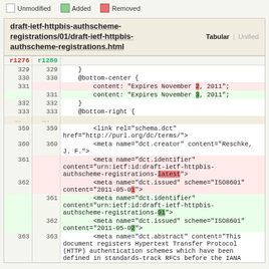[Figure (screenshot): Code diff view showing changes to draft-ietf-httpbis-authscheme-registrations HTML file, with line numbers r1276 and r1280, showing removed (red) and added (green) lines with highlighted character-level changes.]
Tabular | Unified diff view of draft-ietf-httpbis-authscheme-registrations/01/draft-ietf-httpbis-authscheme-registrations.html